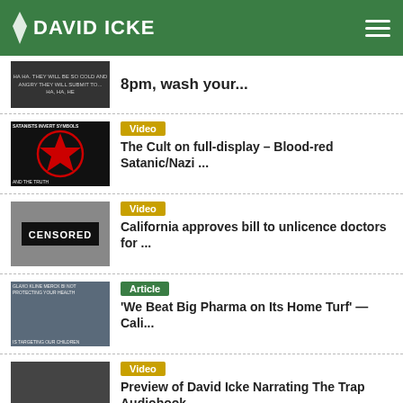DAVID ICKE
8pm, wash your...
Video – The Cult on full-display - Blood-red Satanic/Nazi ...
Video – California approves bill to unlicence doctors for ...
Article – 'We Beat Big Pharma on Its Home Turf' — Cali...
Video – Preview of David Icke Narrating The Trap Audiobook...